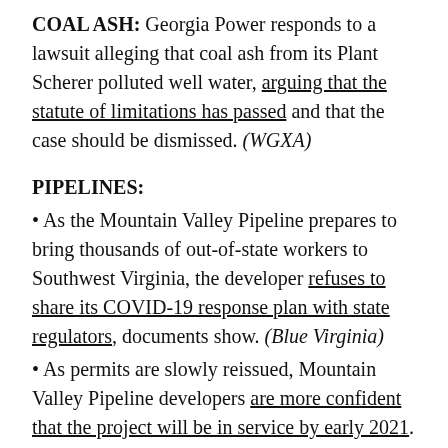COAL ASH: Georgia Power responds to a lawsuit alleging that coal ash from its Plant Scherer polluted well water, arguing that the statute of limitations has passed and that the case should be dismissed. (WGXA)
PIPELINES:
• As the Mountain Valley Pipeline prepares to bring thousands of out-of-state workers to Southwest Virginia, the developer refuses to share its COVID-19 response plan with state regulators, documents show. (Blue Virginia)
• As permits are slowly reissued, Mountain Valley Pipeline developers are more confident that the project will be in service by early 2021. (Utility Dive)